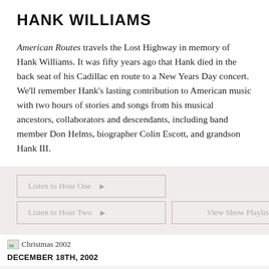HANK WILLIAMS
American Routes travels the Lost Highway in memory of Hank Williams. It was fifty years ago that Hank died in the back seat of his Cadillac en route to a New Years Day concert. We'll remember Hank's lasting contribution to American music with two hours of stories and songs from his musical ancestors, collaborators and descendants, including band member Don Helms, biographer Colin Escott, and grandson Hank III.
[Figure (other): Listen to Hour One button with play icon]
[Figure (other): Listen to Hour Two button with play icon and View Show Playlist button]
[Figure (photo): Small image thumbnail labeled Christmas 2002]
DECEMBER 18TH, 2002